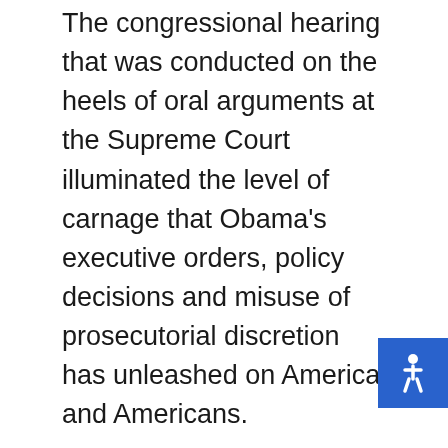The congressional hearing that was conducted on the heels of oral arguments at the Supreme Court illuminated the level of carnage that Obama's executive orders, policy decisions and misuse of prosecutorial discretion has unleashed on America and Americans.
Rep. Trey Gowdy, the Chairman of the House Immigration Subcommittee, opened the hearing with his statement that set the stage and the tone for what would follow. Breitbart.com used one of Rep. Gowdy's statements as the title for the article "Trey Gowdy: More Illegal Immigrants Convicted of Crimes At Large in the U.S. Than The Population of Pittsburgh." Gowdy noted that